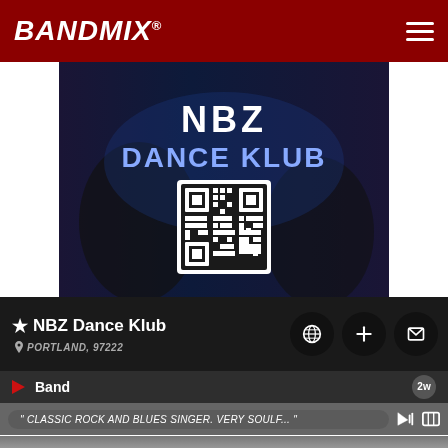BANDMIX®
[Figure (photo): Band promotional image showing 'NBZ DANCE KLUB' text in white/blue neon style with a QR code displayed, performers visible in background with dark blue lighting]
★NBZ Dance Klub
PORTLAND, 97222
Band    2w
" CLASSIC ROCK AND BLUES SINGER. VERY SOULF... "
[Figure (photo): Close-up photo of a bald man with eyes closed, appearing to be singing, with a microphone visible to the left, dark background]